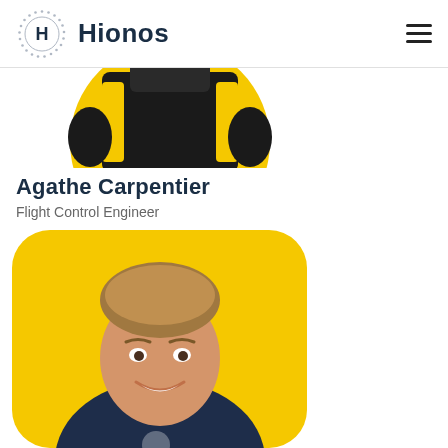Hionos
[Figure (photo): Partial photo of a person in dark jacket with yellow accents visible at top of page, cropped circle shape on yellow background]
Agathe Carpentier
Flight Control Engineer
[Figure (photo): Photo of a young man smiling, wearing a dark navy Hionos t-shirt, on a yellow rounded-square background]